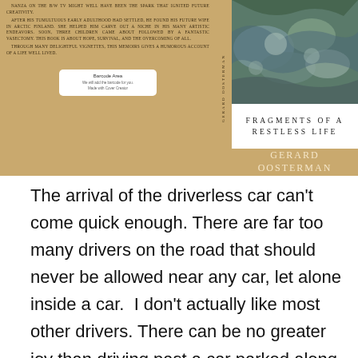[Figure (illustration): Book cover for 'Fragments of a Restless Life' by Gerard Oosterman. Shows back cover with text about the author's life, a barcode area, a spine with the author's name, and a front cover with a rocky/water photograph, the title in spaced uppercase serif letters, and the author name in gold text on a tan background.]
The arrival of the driverless car can't come quick enough. There are far too many drivers on the road that should never be allowed near any car, let alone inside a car. I don't actually like most other drivers. There can be no greater joy than driving past a car parked along the highway with a flashing police car stationed behind it. The police car has special investigation equipment to know the history of the car and its driver. The driver in the car just has to wait in the knowledge the policeman will soon come